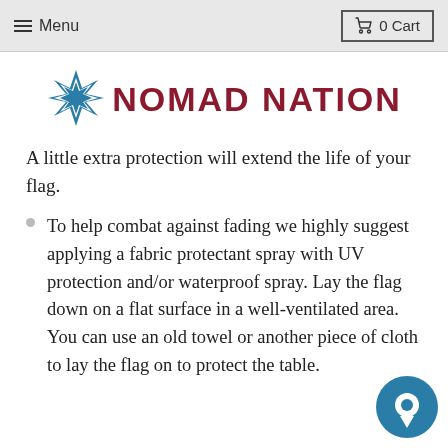Menu  0 Cart
[Figure (logo): Nomad Nation logo with a blue star on the left and dark red bold text NOMAD NATION]
A little extra protection will extend the life of your flag.
To help combat against fading we highly suggest applying a fabric protectant spray with UV protection and/or waterproof spray. Lay the flag down on a flat surface in a well-ventilated area. You can use an old towel or another piece of cloth to lay the flag on to protect the table.